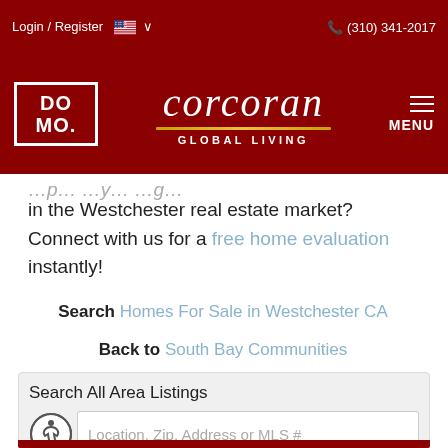Login / Register  (310) 341-2017
[Figure (logo): Corcoran Global Living logo with DOMO square emblem and script Corcoran text]
in the Westchester real estate market? Connect with us for a free home evaluation instantly!
Search Homes For Sale in Westchester CA
Back to South Bay Communities
Search All Area Listings
Location, Zip, Address or MLS #